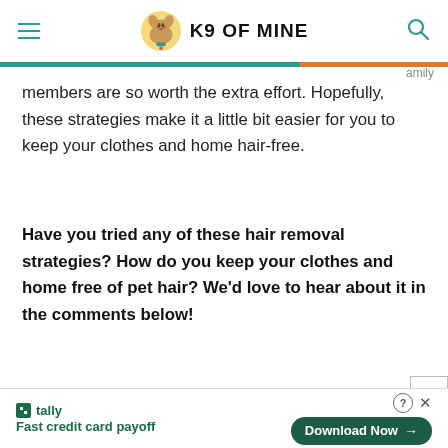K9 OF MINE
members are so worth the extra effort. Hopefully, these strategies make it a little bit easier for you to keep your clothes and home hair-free.
Have you tried any of these hair removal strategies? How do you keep your clothes and home free of pet hair? We'd love to hear about it in the comments below!
tally Fast credit card payoff Download Now →